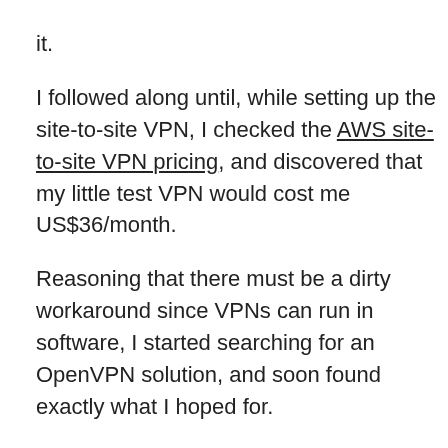it.
I followed along until, while setting up the site-to-site VPN, I checked the AWS site-to-site VPN pricing, and discovered that my little test VPN would cost me US$36/month.
Reasoning that there must be a dirty workaround since VPNs can run in software, I started searching for an OpenVPN solution, and soon found exactly what I hoped for.
OpenVPN have made an AWS AMI available for their “Access Server” product, which is free for up to 2 users. (Provided you’re eligible for the Free tier, which I think means you’ve been signed up for less than 12 months). I installed mine on a t2.micro instance, since I only intend to connect